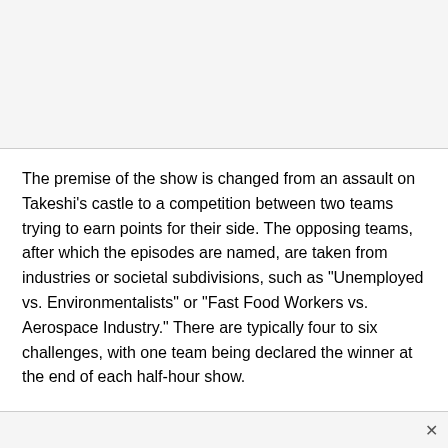The premise of the show is changed from an assault on Takeshi's castle to a competition between two teams trying to earn points for their side. The opposing teams, after which the episodes are named, are taken from industries or societal subdivisions, such as "Unemployed vs. Environmentalists" or "Fast Food Workers vs. Aerospace Industry." There are typically four to six challenges, with one team being declared the winner at the end of each half-hour show.
The framing story has Vic Romano and Kenny Blankensh